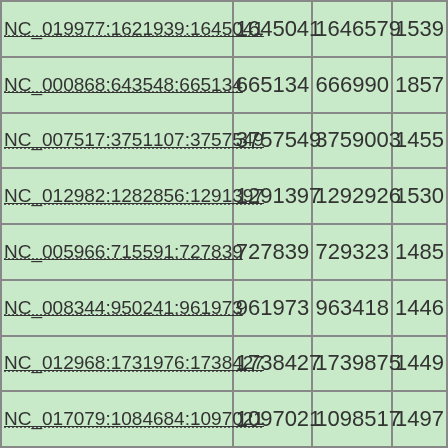| ID | Col2 | Col3 | Col4 |
| --- | --- | --- | --- |
| NC_019977:1621939:1645041 | 1645041 | 1646579 | 1539 |
| NC_000868:643548:665134 | 665134 | 666990 | 1857 |
| NC_007517:3751107:3757549 | 3757549 | 3759003 | 1455 |
| NC_012982:1282856:1291397 | 1291397 | 1292926 | 1530 |
| NC_005966:715591:727839 | 727839 | 729323 | 1485 |
| NC_008344:950241:961973 | 961973 | 963418 | 1446 |
| NC_012968:1731976:1738427 | 1738427 | 1739875 | 1449 |
| NC_017079:1084684:1097021 | 1097021 | 1098517 | 1497 |